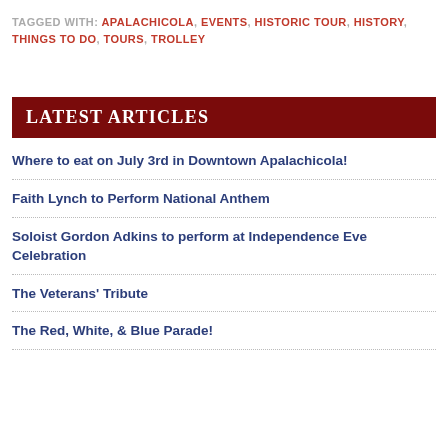TAGGED WITH: APALACHICOLA, EVENTS, HISTORIC TOUR, HISTORY, THINGS TO DO, TOURS, TROLLEY
LATEST ARTICLES
Where to eat on July 3rd in Downtown Apalachicola!
Faith Lynch to Perform National Anthem
Soloist Gordon Adkins to perform at Independence Eve Celebration
The Veterans' Tribute
The Red, White, & Blue Parade!